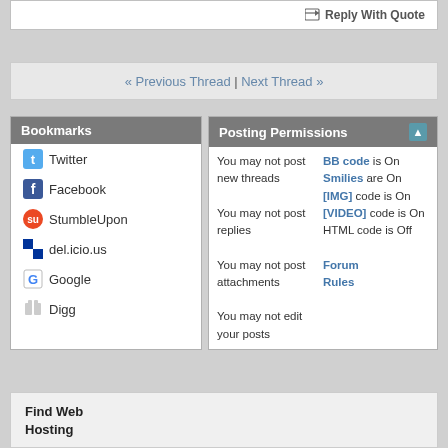Reply With Quote
« Previous Thread | Next Thread »
Bookmarks
Twitter
Facebook
StumbleUpon
del.icio.us
Google
Digg
Posting Permissions
You may not post new threads
You may not post replies
You may not post attachments
You may not edit your posts
BB code is On
Smilies are On
[IMG] code is On
[VIDEO] code is On
HTML code is Off
Forum Rules
Find Web Hosting